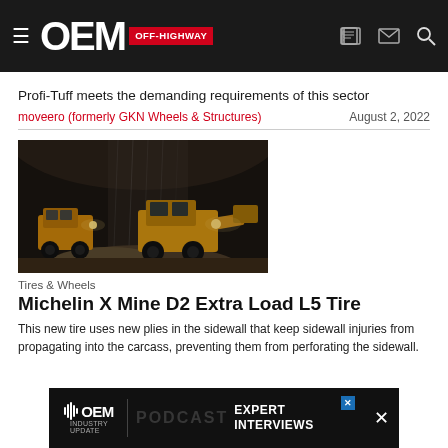OEM OFF-HIGHWAY
Profi-Tuff meets the demanding requirements of this sector
moveero (formerly GKN Wheels & Structures)   August 2, 2022
[Figure (photo): Mine or quarry scene with large yellow construction/mining equipment (wheel loader or similar) operating indoors under falling material/gravel, dark industrial environment with lights visible]
Tires & Wheels
Michelin X Mine D2 Extra Load L5 Tire
This new tire uses new plies in the sidewall that keep sidewall injuries from propagating into the carcass, preventing them from perforating the sidewall.
[Figure (other): OEM Industry Update Expert Interviews podcast advertisement banner at bottom of page]